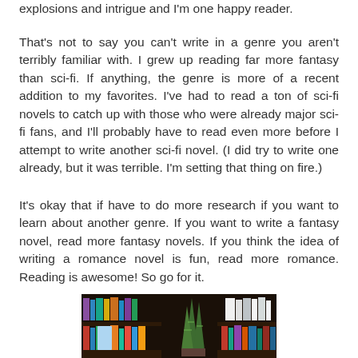explosions and intrigue and I'm one happy reader.
That's not to say you can't write in a genre you aren't terribly familiar with. I grew up reading far more fantasy than sci-fi. If anything, the genre is more of a recent addition to my favorites. I've had to read a ton of sci-fi novels to catch up with those who were already major sci-fi fans, and I'll probably have to read even more before I attempt to write another sci-fi novel. (I did try to write one already, but it was terrible. I'm setting that thing on fire.)
It's okay that if have to do more research if you want to learn about another genre. If you want to write a fantasy novel, read more fantasy novels. If you think the idea of writing a romance novel is fun, read more romance. Reading is awesome! So go for it.
[Figure (photo): A bookshelf with books and a snake plant (Sansevieria) in the foreground, photographed from the front.]